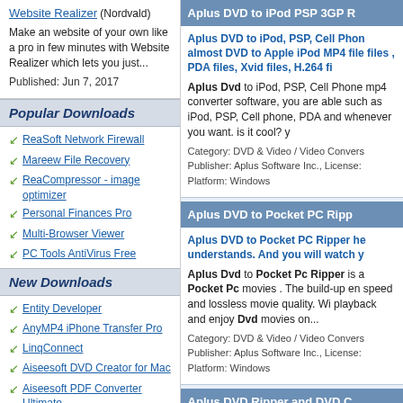Website Realizer (Nordvald)
Make an website of your own like a pro in few minutes with Website Realizer which lets you just...
Published: Jun 7, 2017
Popular Downloads
ReaSoft Network Firewall
Mareew File Recovery
ReaCompressor - image optimizer
Personal Finances Pro
Multi-Browser Viewer
PC Tools AntiVirus Free
New Downloads
Entity Developer
AnyMP4 iPhone Transfer Pro
LinqConnect
Aiseesoft DVD Creator for Mac
Aiseesoft PDF Converter Ultimate
Crescendo Plus
Crescendo Music Notation Editor Free
SAM Broadcaster PRO
FolderMill
NTFS Recovery Toolkit
DocuFreezer
Aplus DVD to iPod PSP 3GP R
Aplus DVD to iPod, PSP, Cell Phone, almost DVD to Apple iPod MP4 files, files, PDA files, Xvid files, H.264 fi
Aplus Dvd to iPod, PSP, Cell Phone mp4 converter software, you are able such as iPod, PSP, Cell phone, PDA and whenever you want. is it cool? y
Category: DVD & Video / Video Convers Publisher: Aplus Software Inc., License: Platform: Windows
Aplus DVD to Pocket PC Ripp
Aplus DVD to Pocket PC Ripper he understands. And you will watch y
Aplus Dvd to Pocket Pc Ripper is a Pocket Pc movies . The build-up en speed and lossless movie quality. Wi playback and enjoy Dvd movies on...
Category: DVD & Video / Video Convers Publisher: Aplus Software Inc., License: Platform: Windows
Aplus DVD Ripper and DVD C